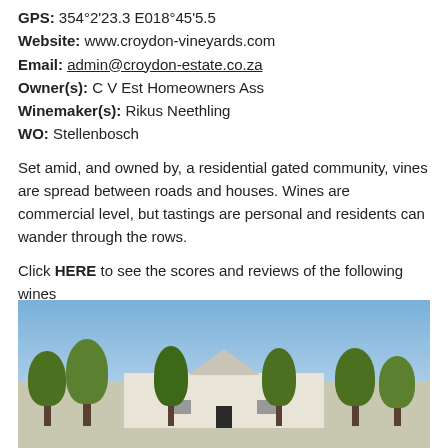GPS: 334°2'23.3 E018°45'5.5
Website: www.croydon-vineyards.com
Email: admin@croydon-estate.co.za
Owner(s): C V Est Homeowners Ass
Winemaker(s): Rikus Neethling
WO: Stellenbosch
Set amid, and owned by, a residential gated community, vines are spread between roads and houses. Wines are commercial level, but tastings are personal and residents can wander through the rows.
Click HERE to see the scores and reviews of the following wines
[Figure (photo): Exterior photo of Croydon Vineyards estate building with trees in front against a blue sky]